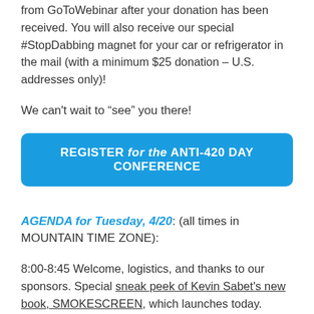You'll receive your login information separately, directly from GoToWebinar after your donation has been received. You will also receive our special #StopDabbing magnet for your car or refrigerator in the mail (with a minimum $25 donation – U.S. addresses only)!
We can't wait to “see” you there!
REGISTER for the ANTI-420 DAY CONFERENCE
AGENDA for Tuesday, 4/20: (all times in MOUNTAIN TIME ZONE):
8:00-8:45 Welcome, logistics, and thanks to our sponsors. Special sneak peek of Kevin Sabet's new book, SMOKESCREEN, which launches today.